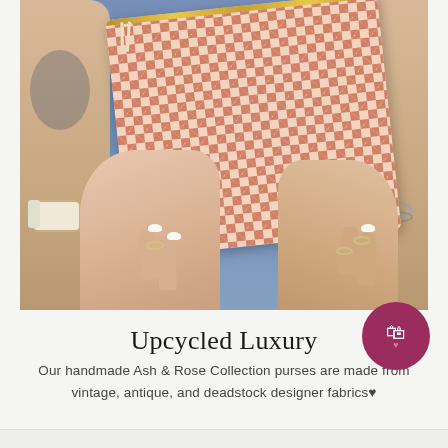[Figure (photo): Close-up photo of a person holding an orange and cream checkered clutch purse with a gold zipper. The person is wearing jeans, has tattoos on their left arm, wears a white bracelet/watch on the left wrist, and a silver cuff bracelet on the right wrist. Their fingernails are painted white and they wear rings on several fingers.]
Upcycled Luxury
Our handmade Ash & Rose Collection purses are made from vintage, antique, and deadstock designer fabrics♥